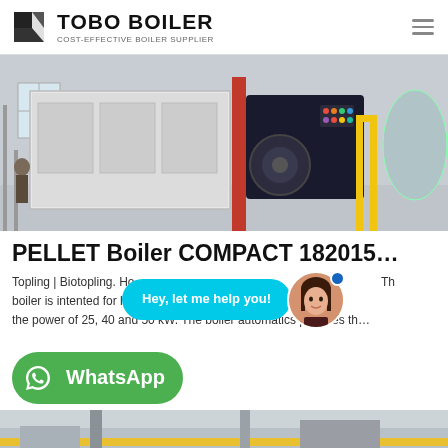TOBO BOILER — COST-EFFECTIVE BOILER SUPPLIER
[Figure (photo): Industrial pellet boiler unit with dark blue control panel and red support column, photographed in a factory/warehouse setting]
PELLET Boiler COMPACT 182015…
Topling | Biotopling. Ho... Th boiler is intented for he...s p... in the power of 25, 40 and 50 kW. The boiler automatics provides th…
[Figure (screenshot): Chat popup bubble saying 'Hey, let me help you!' with a customer service avatar showing a woman smiling]
[Figure (logo): WhatsApp button — green rounded rectangle with WhatsApp icon and 'WhatsApp' text in white]
[Figure (photo): Bottom portion of another industrial boiler/piping photo, partially visible]